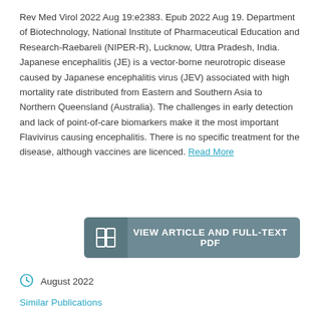Rev Med Virol 2022 Aug 19:e2383. Epub 2022 Aug 19. Department of Biotechnology, National Institute of Pharmaceutical Education and Research-Raebareli (NIPER-R), Lucknow, Uttra Pradesh, India. Japanese encephalitis (JE) is a vector-borne neurotropic disease caused by Japanese encephalitis virus (JEV) associated with high mortality rate distributed from Eastern and Southern Asia to Northern Queensland (Australia). The challenges in early detection and lack of point-of-care biomarkers make it the most important Flavivirus causing encephalitis. There is no specific treatment for the disease, although vaccines are licenced. Read More
[Figure (other): Button labeled 'VIEW ARTICLE AND FULL-TEXT PDF' with a book/document icon on the left, dark teal/grey background]
August 2022
Similar Publications